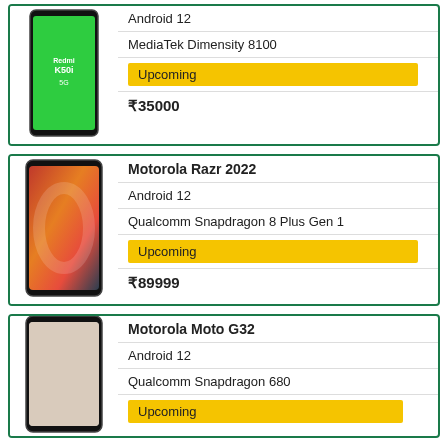[Figure (photo): Redmi K50i 5G smartphone with green display]
Android 12
MediaTek Dimensity 8100
Upcoming
₹35000
Motorola Razr 2022
[Figure (photo): Motorola Razr 2022 smartphone with abstract orange display]
Android 12
Qualcomm Snapdragon 8 Plus Gen 1
Upcoming
₹89999
Motorola Moto G32
[Figure (photo): Motorola Moto G32 smartphone]
Android 12
Qualcomm Snapdragon 680
Upcoming